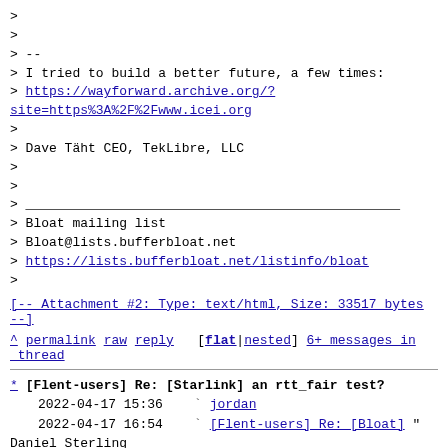> 
> 
> --
> I tried to build a better future, a few times:
> https://wayforward.archive.org/?site=https%3A%2F%2Fwww.icei.org
>
> Dave Täht CEO, TekLibre, LLC
>
>
> ___
> Bloat mailing list
> Bloat@lists.bufferbloat.net
> https://lists.bufferbloat.net/listinfo/bloat
>
[-- Attachment #2: Type: text/html, Size: 33517 bytes --]
^ permalink raw reply  [flat|nested] 6+ messages in thread
* [Flent-users] Re: [Starlink] an rtt_fair test?
  2022-04-17 15:36    ` jordan
  2022-04-17 16:54    ` [Flent-users] Re: [Bloat] " Daniel Sterling
@ 2022-04-18  0:22    ` Dave Taht
  1 sibling, 0 replies; 6+ messages in thread
From: Dave Taht @ 2022-04-18  0:22 UTC (permalink / raw)